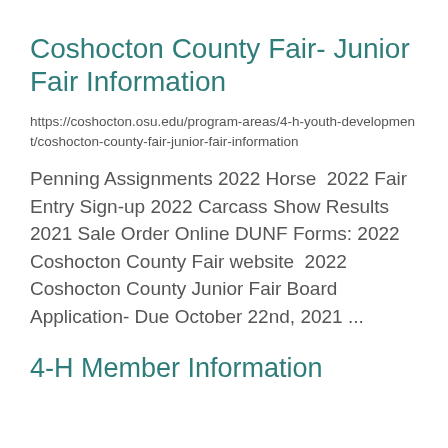Coshocton County Fair- Junior Fair Information
https://coshocton.osu.edu/program-areas/4-h-youth-development/coshocton-county-fair-junior-fair-information
Penning Assignments 2022 Horse  2022 Fair Entry Sign-up 2022 Carcass Show Results 2021 Sale Order Online DUNF Forms: 2022 Coshocton County Fair website  2022 Coshocton County Junior Fair Board Application- Due October 22nd, 2021 ...
4-H Member Information